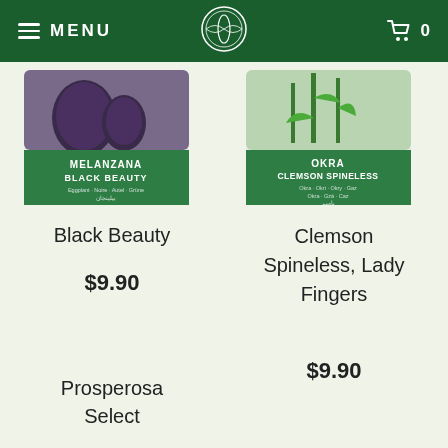MENU | [logo] | 0
[Figure (photo): Melanzana Black Beauty seed packet with green label showing product name]
Black Beauty
$9.90
[Figure (photo): Okra Clemson Spineless seed packet with green label showing product name and plant image]
Clemson Spineless, Lady Fingers
$9.90
Prosperosa Select